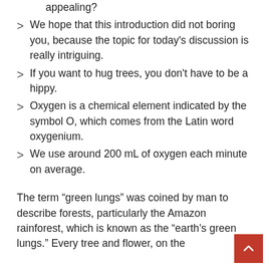appealing?
We hope that this introduction did not boring you, because the topic for today's discussion is really intriguing.
If you want to hug trees, you don't have to be a hippy.
Oxygen is a chemical element indicated by the symbol O, which comes from the Latin word oxygenium.
We use around 200 mL of oxygen each minute on average.
The term “green lungs” was coined by man to describe forests, particularly the Amazon rainforest, which is known as the “earth’s green lungs.” Every tree and flower, on the